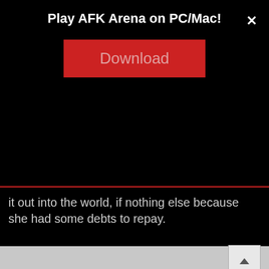Play AFK Arena on PC/Mac!
[Figure (screenshot): Red Download button for AFK Arena advertisement]
it out into the world, if nothing else because she had some debts to repay.